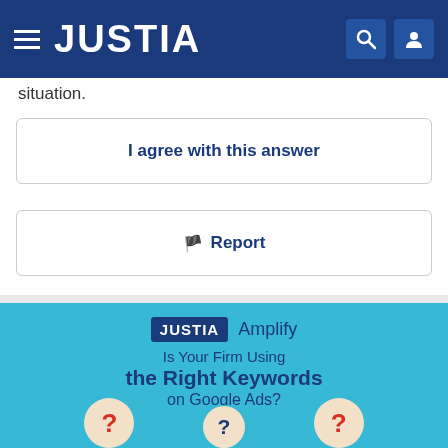JUSTIA
situation.
I agree with this answer
Report
[Figure (screenshot): Justia Amplify advertisement banner with text 'Is Your Firm Using the Right Keywords on Google Ads?' and a red 'Let Us Help' button on a light blue background]
Is Your Firm Using the Right Keywords on Google Ads?